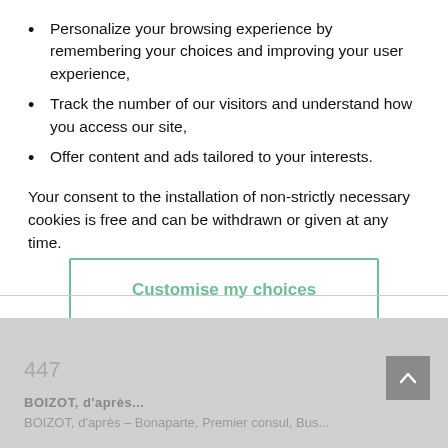Personalize your browsing experience by remembering your choices and improving your user experience,
Track the number of our visitors and understand how you access our site,
Offer content and ads tailored to your interests.
Your consent to the installation of non-strictly necessary cookies is free and can be withdrawn or given at any time.
Customise my choices
Accept all
447
BOIZOT, d'après...
BOIZOT, d'après – Bonaparte, Premier consul, Bus...